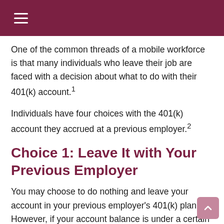One of the common threads of a mobile workforce is that many individuals who leave their job are faced with a decision about what to do with their 401(k) account.¹
Individuals have four choices with the 401(k) account they accrued at a previous employer.²
Choice 1: Leave It with Your Previous Employer
You may choose to do nothing and leave your account in your previous employer's 401(k) plan. However, if your account balance is under a certain amount, be aware that your ex-employer may elect